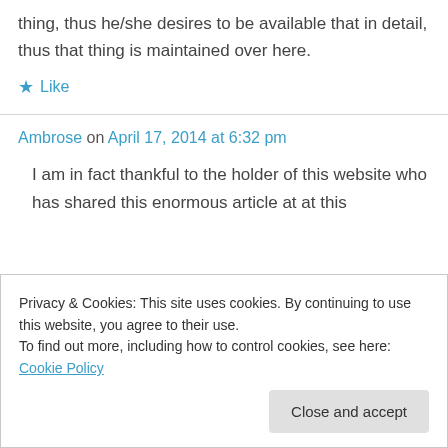thing, thus he/she desires to be available that in detail, thus that thing is maintained over here.
★ Like
Ambrose on April 17, 2014 at 6:32 pm
I am in fact thankful to the holder of this website who has shared this enormous article at at this
Privacy & Cookies: This site uses cookies. By continuing to use this website, you agree to their use.
To find out more, including how to control cookies, see here: Cookie Policy